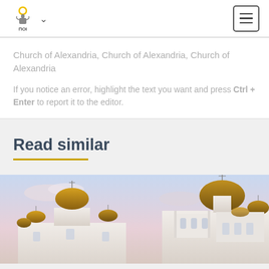Church of Alexandria, Church of Alexandria, Church of Alexandria
If you notice an error, highlight the text you want and press Ctrl + Enter to report it to the editor.
Read similar
[Figure (photo): Two Orthodox churches with golden domes against a pastel sky background]